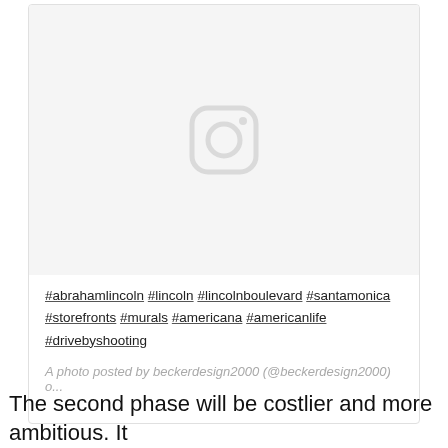[Figure (photo): Instagram embed card with placeholder image (light gray background with Instagram camera icon). Contains hashtags: #abrahamlincoln #lincoln #lincolnboulevard #santamonica #storefronts #murals #americana #americanlife #drivebyshooting. Caption: A photo posted by beckerdesign2000 (@beckerdesign2000) o...]
A photo posted by beckerdesign2000 (@beckerdesign2000) o...
The second phase will be costlier and more ambitious. It